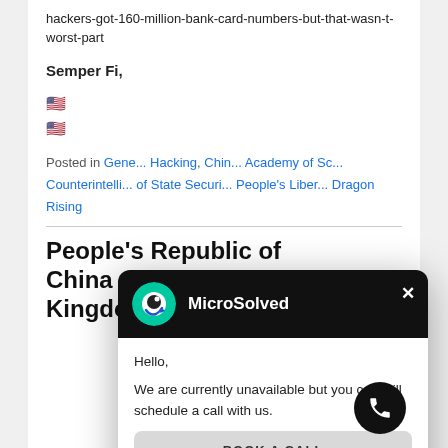hackers-got-160-million-bank-card-numbers-but-that-wasn-t-worst-part
Semper Fi,
🇺🇸
🇺🇸
Posted in General, Hacking, China, Academy of Sciences, Counterintelligence, Ministry of State Security, People's Liberation Army, Dragon Rising
[Figure (screenshot): MicroSolved chat widget popup with header showing logo and brand name, greeting text 'Hello, We are currently unavailable but you can still schedule a call with us.', a BOOK A CALL button, and Powered by novocall footer]
People's Republic of China & Operation Middle Kingdom…oh yes,